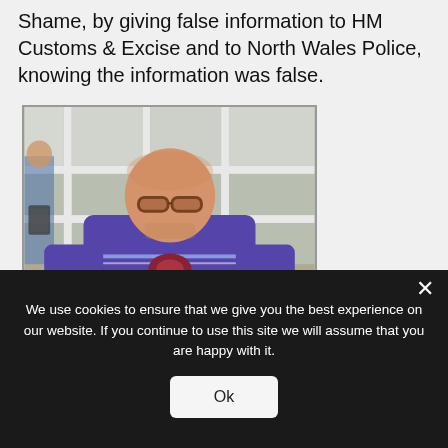Shame, by giving false information to HM Customs & Excise and to North Wales Police, knowing the information was false.
[Figure (photo): A heavyset middle-aged man with glasses and grey stubble, wearing a purple football club t-shirt with a badge/logo on it, standing in front of a white UPVC conservatory or window. Another person in blue is partially visible in the background.]
We use cookies to ensure that we give you the best experience on our website. If you continue to use this site we will assume that you are happy with it.